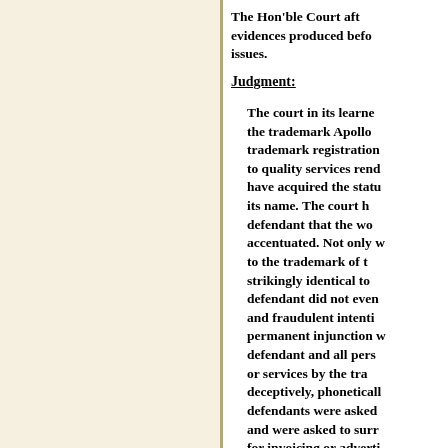The Hon'ble Court after considering the evidences produced before it framed the following issues.
Judgment:
The court in its learned opinion found the trademark Apollo Pharmacy with trademark registration as a well-known mark due to quality services rendered by it and they have acquired the status of well-known mark in its name. The court has ruled against the defendant that the word mark similarity is accentuated. Not only was the mark similar to the trademark of the plaintiff but was strikingly identical to that mark. The defendant did not even register the mark and fraudulent intention was evident. A permanent injunction was granted against the defendant and all persons offering goods or services by the trademark or word deceptively, phonetically or visually alike, defendants were asked to destroy infringing and were asked to surrender all documents for invoicing or adverti...